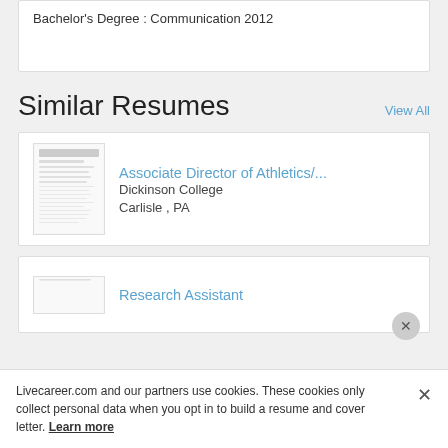Bachelor's Degree : Communication 2012
Similar Resumes
View All
[Figure (other): Thumbnail preview of Associate Director of Athletics resume]
Associate Director of Athletics/...
Dickinson College
Carlisle , PA
[Figure (other): Thumbnail preview of Research Assistant resume]
Research Assistant
Livecareer.com and our partners use cookies. These cookies only collect personal data when you opt in to build a resume and cover letter. Learn more